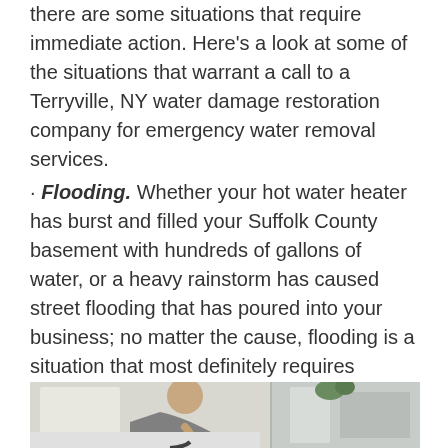there are some situations that require immediate action. Here's a look at some of the situations that warrant a call to a Terryville, NY water damage restoration company for emergency water removal services.
· Flooding. Whether your hot water heater has burst and filled your Suffolk County basement with hundreds of gallons of water, or a heavy rainstorm has caused street flooding that has poured into your business; no matter the cause, flooding is a situation that most definitely requires emergency water removal services.
[Figure (photo): A man leaning over and working on plumbing or water damage, in an interior setting with white walls. A second view shows a wall panel or window in the background.]